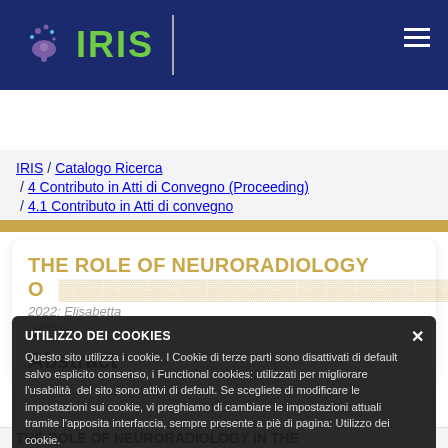[Figure (logo): IRIS logo with stylized brain/eye icon in purple/green on navy background]
IRIS
IRIS / Catalogo Ricerca / 4 Contributo in Atti di Convegno (Proceeding) / 4.1 Contributo in Atti di convegno
THE ROLE OF NEURORADIOLOGY ONCO...
2022; Elisabetta
2008
Abstract
UTILIZZO DEI COOKIES
Questo sito utilizza i cookie. I Cookie di terze parti sono disattivati di default salvo esplicito consenso, i Functional cookies: utilizzati per migliorare l'usabilità del sito sono attivi di default. Se scegliete di modificare le impostazioni sui cookie, vi preghiamo di cambiare le impostazioni attuali tramite l'apposita interfaccia, sempre presente a piè di pagina: Utilizzo dei cookie.
THE ROLE OF NEURORADIOLOGY IN THE...